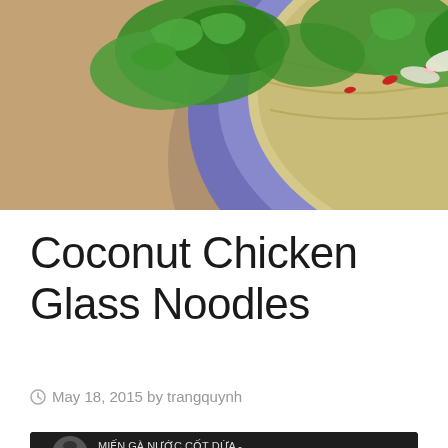[Figure (photo): Overhead view of a blue bowl containing glass noodles topped with fresh cilantro, red chili pieces, and shredded chicken, on a wooden table surface.]
Coconut Chicken Glass Noodles
May 18, 2015 by trangquynh
[Figure (screenshot): YouTube video embed thumbnail showing 'MIẾN GÀ NƯỚC CỐT DỪA -...' with a woman's avatar on the left, three-dot menu on the right, and a YouTube play button over a bowl of noodles.]